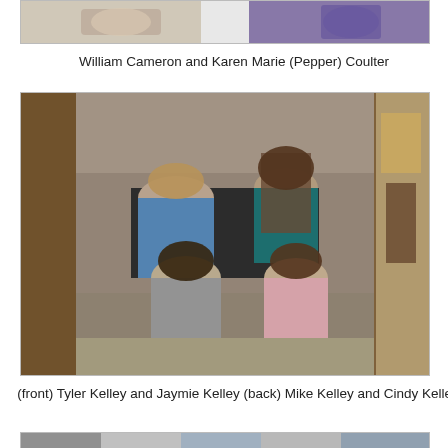[Figure (photo): Partial photo at top of page showing two people — William Cameron and Karen Marie (Pepper) Coulter]
William Cameron and Karen Marie (Pepper) Coulter
[Figure (photo): Family photo in front of stone fireplace: (front) Tyler Kelley and Jaymie Kelley, (back) Mike Kelley and Cindy Kelley]
(front) Tyler Kelley and Jaymie Kelley (back) Mike Kelley and Cindy Kelley
[Figure (photo): Partial photo at bottom of page, cropped]